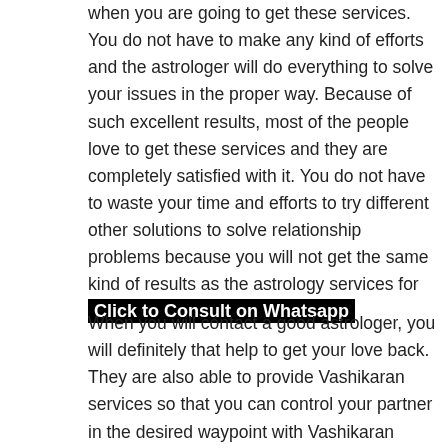when you are going to get these services. You do not have to make any kind of efforts and the astrologer will do everything to solve your issues in the proper way. Because of such excellent results, most of the people love to get these services and they are completely satisfied with it. You do not have to waste your time and efforts to try different other solutions to solve relationship problems because you will not get the same kind of results as the astrology services for [Click to Consult on Whatsapp]
When you will contact a good astrologer, you will definitely that help to get your love back. They are also able to provide Vashikaran services so that you can control your partner in the desired waypoint with Vashikaran services, you can keep your partner loyal forever and you can skip several types of problems in your relationship. Always make sure to keep your